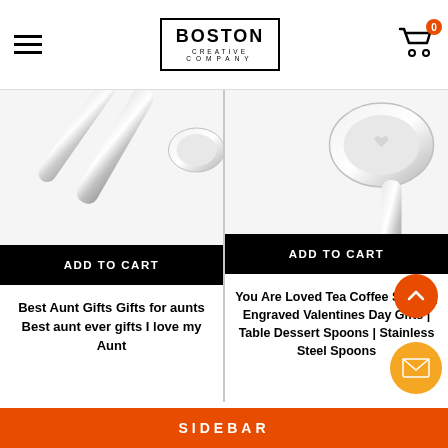Boston Creative Company
[Figure (photo): Metallic spoon product image - left card]
ADD TO CART
Best Aunt Gifts Gifts for aunts Best aunt ever gifts I love my Aunt
$12.99  $19.99
[Figure (photo): Metallic spoon product image - right card]
ADD TO CART
You Are Loved Tea Coffee Spoon | Engraved Valentines Day Gifts | Table Dessert Spoons | Stainless Steel Spoons
$10.00  $12.00
SIDEBAR